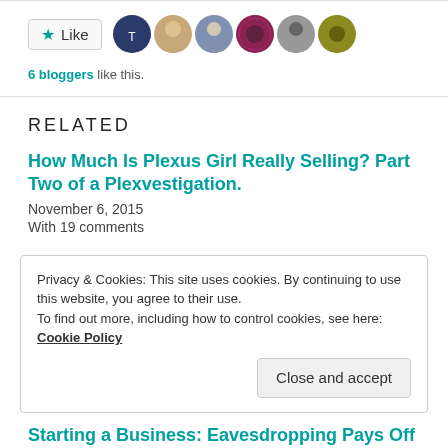[Figure (other): Like button with star icon and 6 blogger avatar images]
6 bloggers like this.
RELATED
How Much Is Plexus Girl Really Selling? Part Two of a Plexvestigation.
November 6, 2015
With 19 comments
Privacy & Cookies: This site uses cookies. By continuing to use this website, you agree to their use.
To find out more, including how to control cookies, see here: Cookie Policy
Close and accept
Starting a Business: Eavesdropping Pays Off